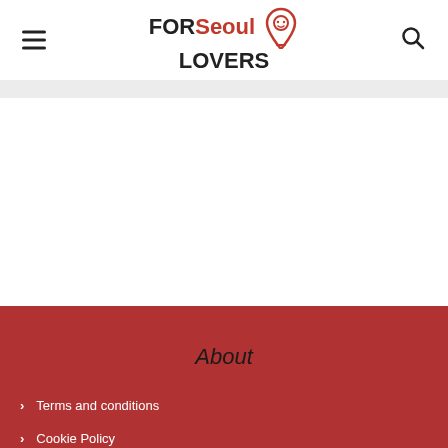FOR Seoul LOVERS
About
Terms and conditions
Cookie Policy